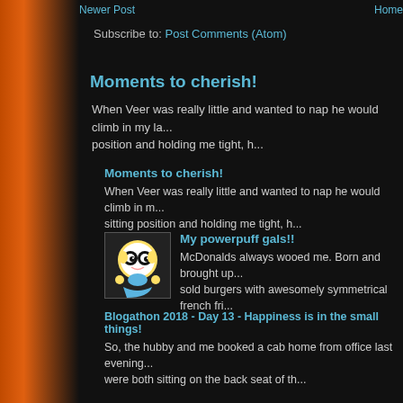Newer Post   Home
Subscribe to: Post Comments (Atom)
Moments to cherish!
When Veer was really little and wanted to nap he would climb in my la... position and holding me tight, h...
Moments to cherish!
When Veer was really little and wanted to nap he would climb in m... sitting position and holding me tight, h...
My powerpuff gals!!
McDonalds always wooed me. Born and brought up... sold burgers with awesomely symmetrical french fri...
Blogathon 2018 - Day 13 - Happiness is in the small things!
So, the hubby and me booked a cab home from office last evening... were both sitting on the back seat of th...